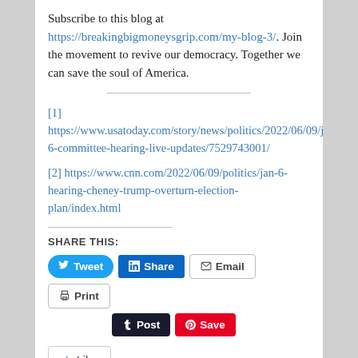Subscribe to this blog at https://breakingbigmoneysgrip.com/my-blog-3/. Join the movement to revive our democracy. Together we can save the soul of America.
[1] https://www.usatoday.com/story/news/politics/2022/06/09/january-6-committee-hearing-live-updates/7529743001/
[2] https://www.cnn.com/2022/06/09/politics/jan-6-hearing-cheney-trump-overturn-election-plan/index.html
SHARE THIS:
[Figure (other): Social share buttons: Tweet (Twitter/blue), Share (LinkedIn/blue), Email (outline), Print (outline), Post (Tumblr/dark), Save (Pinterest/red), Like (star button)]